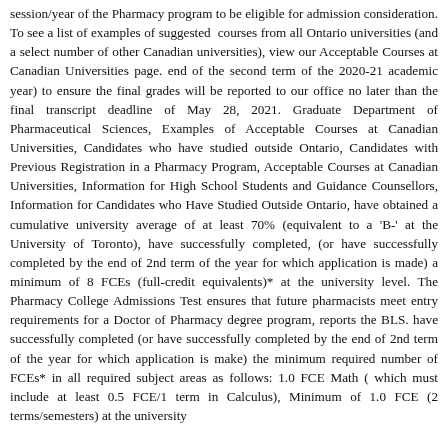session/year of the Pharmacy program to be eligible for admission consideration. To see a list of examples of suggested courses from all Ontario universities (and a select number of other Canadian universities), view our Acceptable Courses at Canadian Universities page. end of the second term of the 2020-21 academic year) to ensure the final grades will be reported to our office no later than the final transcript deadline of May 28, 2021. Graduate Department of Pharmaceutical Sciences, Examples of Acceptable Courses at Canadian Universities, Candidates who have studied outside Ontario, Candidates with Previous Registration in a Pharmacy Program, Acceptable Courses at Canadian Universities, Information for High School Students and Guidance Counsellors, Information for Candidates who Have Studied Outside Ontario, have obtained a cumulative university average of at least 70% (equivalent to a 'B-' at the University of Toronto), have successfully completed, (or have successfully completed by the end of 2nd term of the year for which application is made) a minimum of 8 FCEs (full-credit equivalents)* at the university level. The Pharmacy College Admissions Test ensures that future pharmacists meet entry requirements for a Doctor of Pharmacy degree program, reports the BLS. have successfully completed (or have successfully completed by the end of 2nd term of the year for which application is make) the minimum required number of FCEs* in all required subject areas as follows: 1.0 FCE Math ( which must include at least 0.5 FCE/1 term in Calculus), Minimum of 1.0 FCE (2 terms/semesters) at the university